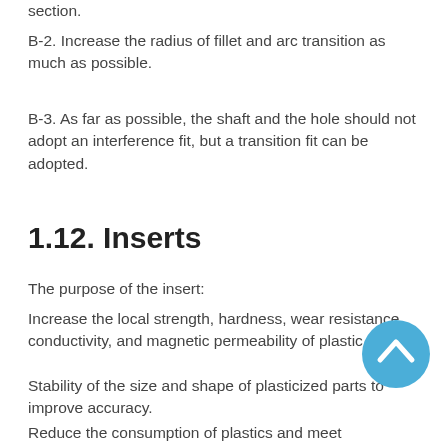section.
B-2. Increase the radius of fillet and arc transition as much as possible.
B-3. As far as possible, the shaft and the hole should not adopt an interference fit, but a transition fit can be adopted.
1.12. Inserts
The purpose of the insert:
Increase the local strength, hardness, wear resistance, conductivity, and magnetic permeability of plastic parts.
Stability of the size and shape of plasticized parts to improve accuracy.
Reduce the consumption of plastics and meet